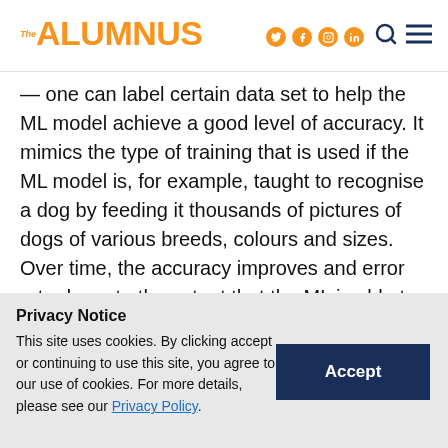The ALUMNUS
— one can label certain data set to help the ML model achieve a good level of accuracy. It mimics the type of training that is used if the ML model is, for example, taught to recognise a dog by feeding it thousands of pictures of dogs of various breeds, colours and sizes. Over time, the accuracy improves and error rate drops to the extent that the ML is able to identify a dog from a picture that it has not seen before.
Privacy Notice
This site uses cookies. By clicking accept or continuing to use this site, you agree to our use of cookies. For more details, please see our Privacy Policy.